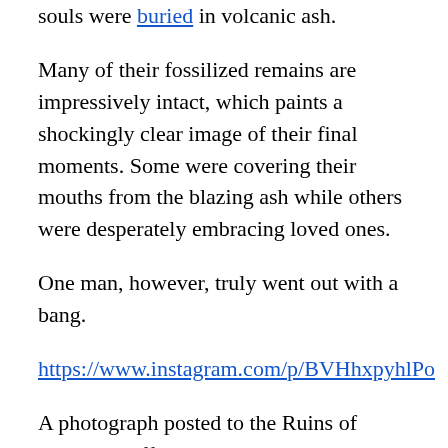souls were buried in volcanic ash.
Many of their fossilized remains are impressively intact, which paints a shockingly clear image of their final moments. Some were covering their mouths from the blazing ash while others were desperately embracing loved ones.
One man, however, truly went out with a bang.
https://www.instagram.com/p/BVHhxpyhlPo
A photograph posted to the Ruins of Pompeii's official Instagram account reveals how one victim spent his dying breaths: with his right hand in a position that should still be familiar to many today.